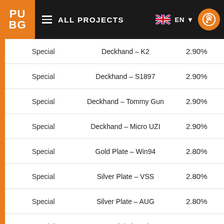PUBG — ALL PROJECTS — EN
| Type | Name | Chance |
| --- | --- | --- |
| Special | Deckhand – K2 | 2.90% |
| Special | Deckhand – S1897 | 2.90% |
| Special | Deckhand – Tommy Gun | 2.90% |
| Special | Deckhand – Micro UZI | 2.90% |
| Special | Gold Plate – Win94 | 2.80% |
| Special | Silver Plate – VSS | 2.80% |
| Special | Silver Plate – AUG | 2.80% |
| Special | Desert Digital – Win94 | 2.80% |